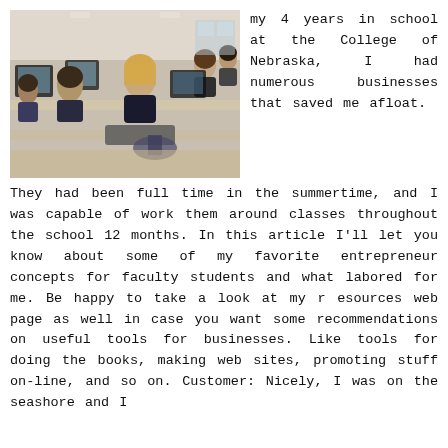[Figure (photo): Students working at computer workstations in a classroom or computer lab setting, viewed from behind, with multiple monitors and people seated at desks.]
my 4 years in school at the College of Nebraska, I had numerous businesses that saved me afloat. They had been full time in the summertime, and I was capable of work them around classes throughout the school 12 months. In this article I'll let you know about some of my favorite entrepreneur concepts for faculty students and what labored for me. Be happy to take a look at my r esources web page as well in case you want some recommendations on useful tools for businesses. Like tools for doing the books, making web sites, promoting stuff on-line, and so on. Customer: Nicely, I was on the seashore and I